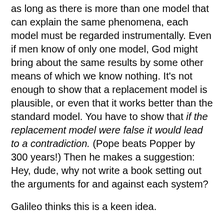as long as there is more than one model that can explain the same phenomena, each model must be regarded instrumentally.  Even if men know of only one model, God might bring about the same results by some other means of which we know nothing.  It's not enough to show that a replacement model is plausible, or even that it works better than the standard model.  You have to show that if the replacement model were false it would lead to a contradiction.  (Pope beats Popper by 300 years!)  Then he makes a suggestion: Hey, dude, why not write a book setting out the arguments for and against each system?
Galileo thinks this is a keen idea.
7 Jun 1624.  After meeting with Galileo, Prince Cesi, and Father Monster, German Cardinal Frederic Eutel von Hohenzollern (known to the relief of all non-Germans simply as "Zollern") pays his respects to the Pope before departing for his see at Osnabrück.  He mentions the difficulties in converting German noblemen shocked by the suspension of Copernicus' book in 1616, hoping to get a statement from him on Copernicanism.  According to Zollern, the Pope